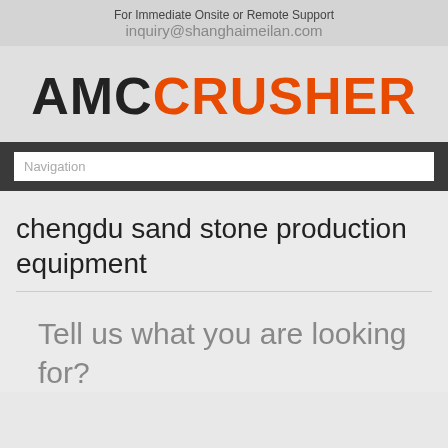For Immediate Onsite or Remote Support
inquiry@shanghaimeilan.com
[Figure (logo): AMC CRUSHER logo with AMC in dark/black and CRUSHER in orange]
Navigation
chengdu sand stone production equipment
Tell us what you are looking for?